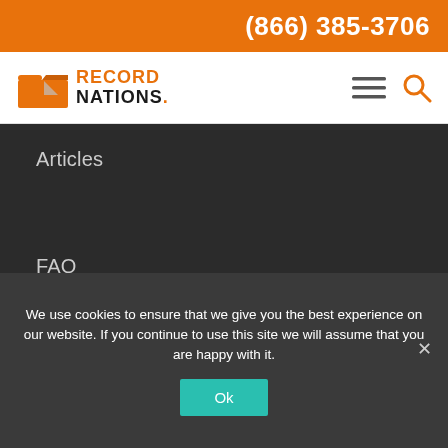(866) 385-3706
[Figure (logo): Record Nations logo with orange folder icon and company name]
Articles
FAQ
Scholarship
We use cookies to ensure that we give you the best experience on our website. If you continue to use this site we will assume that you are happy with it.